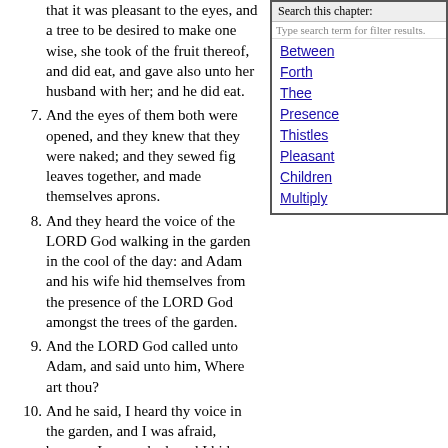that it was pleasant to the eyes, and a tree to be desired to make one wise, she took of the fruit thereof, and did eat, and gave also unto her husband with her; and he did eat.
7. And the eyes of them both were opened, and they knew that they were naked; and they sewed fig leaves together, and made themselves aprons.
8. And they heard the voice of the LORD God walking in the garden in the cool of the day: and Adam and his wife hid themselves from the presence of the LORD God amongst the trees of the garden.
9. And the LORD God called unto Adam, and said unto him, Where art thou?
10. And he said, I heard thy voice in the garden, and I was afraid, because I was naked; and I hid myself.
11. And he said, Who told thee that
[Figure (screenshot): Search panel with header 'Search this chapter:', a text input box with placeholder 'Type search term for filter results.', and links: Between, Forth, Thee, Presence, Thistles, Pleasant, Children, Multiply]